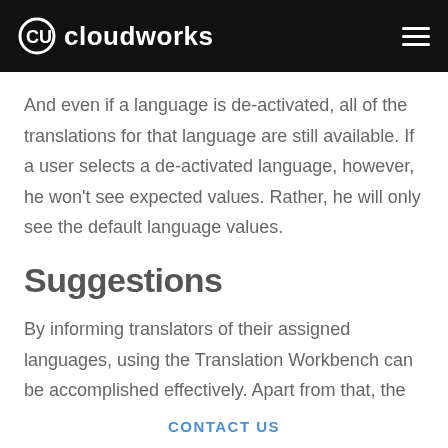cloudworks
And even if a language is de-activated, all of the translations for that language are still available. If a user selects a de-activated language, however, he won't see expected values. Rather, he will only see the default language values.
Suggestions
By informing translators of their assigned languages, using the Translation Workbench can be accomplished effectively. Apart from that, the
CONTACT US